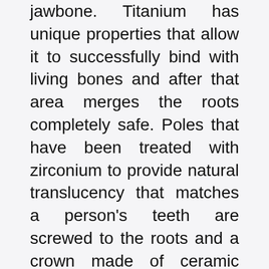jawbone. Titanium has unique properties that allow it to successfully bind with living bones and after that area merges the roots completely safe. Poles that have been treated with zirconium to provide natural translucency that matches a person's teeth are screwed to the roots and a crown made of ceramic compounds are cemented to the pole.
Implants are saving teeth because they stand alone